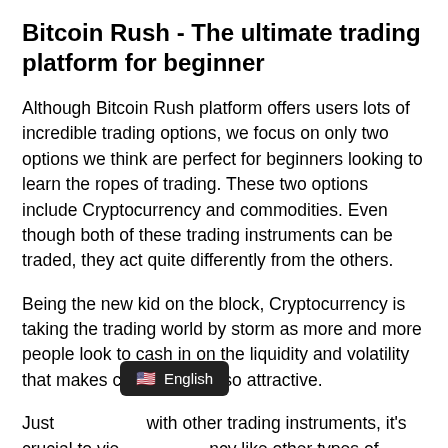Bitcoin Rush - The ultimate trading platform for beginner
Although Bitcoin Rush platform offers users lots of incredible trading options, we focus on only two options we think are perfect for beginners looking to learn the ropes of trading. These two options include Cryptocurrency and commodities. Even though both of these trading instruments can be traded, they act quite differently from the others.
Being the new kid on the block, Cryptocurrency is taking the trading world by storm as more and more people look to cash in on the liquidity and volatility that makes crypto trading so attractive.
Just [overlay: English] with other trading instruments, it's crucial to vie[overlay] ncy like other types of currencies, let's say